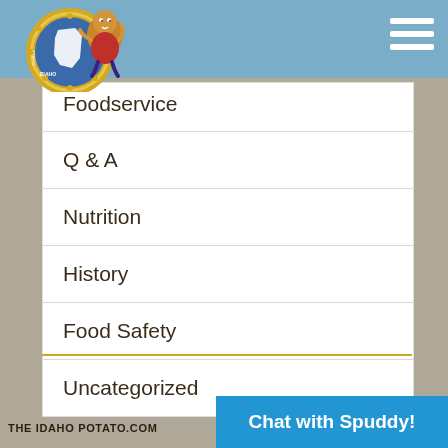[Figure (logo): Certified Idaho Potato Commission logo with Spuddy mascot character]
Foodservice
Q & A
Nutrition
History
Food Safety
Uncategorized
THE IDAHO POTATO.COM
Chat with Spuddy!